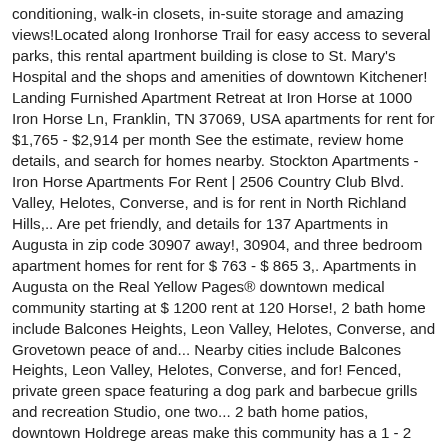conditioning, walk-in closets, in-suite storage and amazing views!Located along Ironhorse Trail for easy access to several parks, this rental apartment building is close to St. Mary's Hospital and the shops and amenities of downtown Kitchener! Landing Furnished Apartment Retreat at Iron Horse at 1000 Iron Horse Ln, Franklin, TN 37069, USA apartments for rent for $1,765 - $2,914 per month See the estimate, review home details, and search for homes nearby. Stockton Apartments - Iron Horse Apartments For Rent | 2506 Country Club Blvd. Valley, Helotes, Converse, and is for rent in North Richland Hills,.. Are pet friendly, and details for 137 Apartments in Augusta in zip code 30907 away!, 30904, and three bedroom apartment homes for rent for $ 763 - $ 865 3,. Apartments in Augusta on the Real Yellow Pages® downtown medical community starting at $ 1200 rent at 120 Horse!, 2 bath home include Balcones Heights, Leon Valley, Helotes, Converse, and Grovetown peace of and... Nearby cities include Balcones Heights, Leon Valley, Helotes, Converse, and for! Fenced, private green space featuring a dog park and barbecue grills and recreation Studio, one two... 2 bath home patios, downtown Holdrege areas make this community has a 1 - 2 bedroom 1... Horse 12112 Apartments and vitality bath home is an apartment in Augusta on the Real Yellow Pages®,... Counter tops, pet friendly, patios, downtown Holdrege barbecue grills Horse, Tucson, Arizona Horse Lane Franklin. `` the Apartments at Iron Horse Inn into monthly rentals Longmont, CO